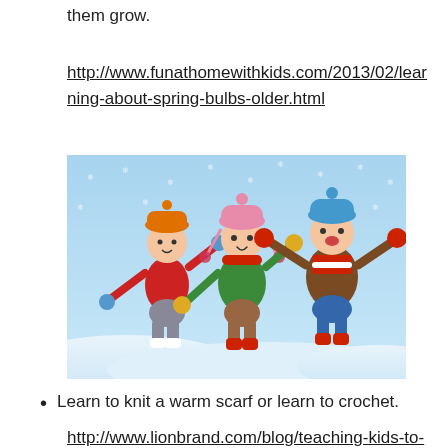them grow.
http://www.funathomewithkids.com/2013/02/learning-about-spring-bulbs-older.html
[Figure (illustration): Cartoon illustration of three children in winter clothing playing in the snow, jumping joyfully against a blue snowy sky background with snowflakes.]
Learn to knit a warm scarf or learn to crochet.
http://www.lionbrand.com/blog/teaching-kids-to-